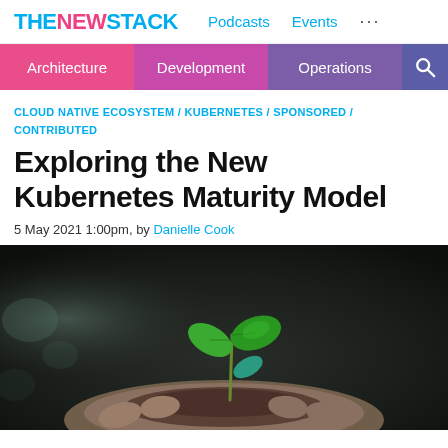THE NEW STACK | Podcasts | Events | ...
Architecture | Development | Operations | Search
CLOUD NATIVE ECOSYSTEM / KUBERNETES / SPONSORED / CONTRIBUTED
Exploring the New Kubernetes Maturity Model
5 May 2021 1:00pm, by Danielle Cook
[Figure (photo): Close-up photo of a small green seedling sprout being held in cupped hands with dark background]